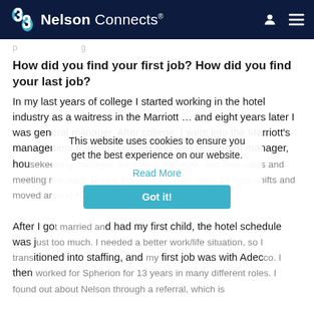Nelson Connects
[partially visible faded text at top]
How did you find your first job? How did you find your last job?
In my last years of college I started working in the hotel industry as a waitress in the Marriott … and eight years later I was general manager. After college, I went into the Marriott's management training program and was restaurant manager, housekeeping manager, front desk manager, and then sales and meeting manager. During those years I did many 24-hour shifts and moved around Northern California a lot!

After I got married and had my first child, the hotel schedule was just too much. I needed a better work/life situation, so I transitioned into staffing, and my first job was with Adecco. I then worked for Spherion for 13 years in many different roles. I found out about Nelson through a referral, which is
This website uses cookies to ensure you get the best experience on our website.
Read More
Got it!